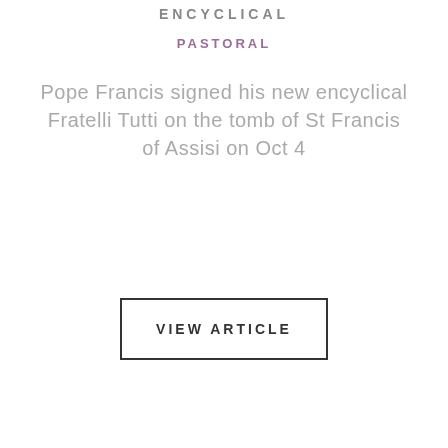ENCYCLICAL
PASTORAL
Pope Francis signed his new encyclical Fratelli Tutti on the tomb of St Francis of Assisi on Oct 4
VIEW ARTICLE